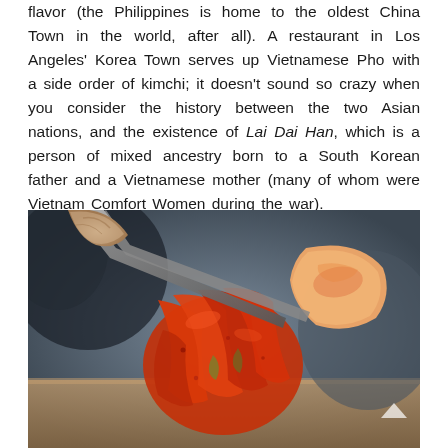flavor (the Philippines is home to the oldest China Town in the world, after all). A restaurant in Los Angeles' Korea Town serves up Vietnamese Pho with a side order of kimchi; it doesn't sound so crazy when you consider the history between the two Asian nations, and the existence of Lai Dai Han, which is a person of mixed ancestry born to a South Korean father and a Vietnamese mother (many of whom were Vietnam Comfort Women during the war).
[Figure (photo): Close-up photo of kimchi being held with metal tongs, showing red chili-coated fermented cabbage with a piece of white radish kimchi on top, against a blurred background.]